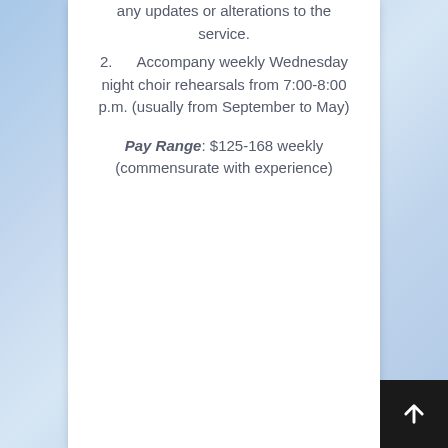any updates or alterations to the service.
2.      Accompany weekly Wednesday night choir rehearsals from 7:00-8:00 p.m. (usually from September to May)
Pay Range: $125-168 weekly (commensurate with experience)